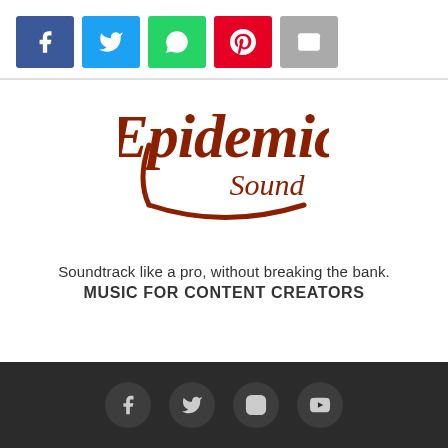[Figure (other): Social share buttons: Facebook (blue), Twitter (light blue), WhatsApp (green), Pinterest (red), Email (grey)]
[Figure (logo): Epidemic Sound logo in dark red/brown cursive lettering]
Soundtrack like a pro, without breaking the bank.
MUSIC FOR CONTENT CREATORS
[Figure (other): Footer with dark background and four social media icons: Facebook, Twitter, Instagram, YouTube]